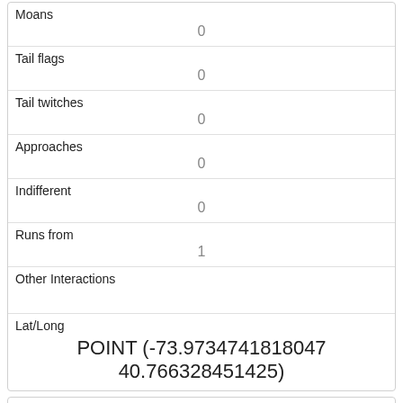| Moans | 0 |
| Tail flags | 0 |
| Tail twitches | 0 |
| Approaches | 0 |
| Indifferent | 0 |
| Runs from | 1 |
| Other Interactions |  |
| Lat/Long | POINT (-73.9734741818047 40.766328451425) |
| Link | 647 |
| rowid | 647 |